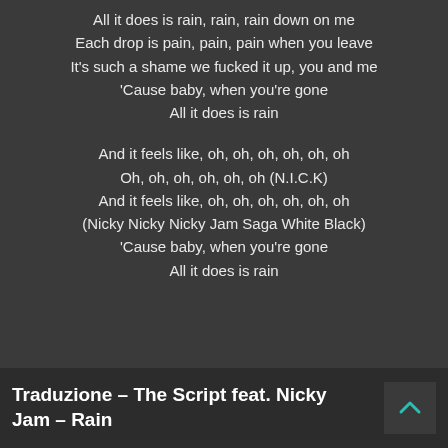All it does is rain, rain, rain down on me
Each drop is pain, pain, pain when you leave
It's such a shame we fucked it up, you and me
'Cause baby, when you're gone
All it does is rain

And it feels like, oh, oh, oh, oh, oh, oh
Oh, oh, oh, oh, oh, oh (N.I.C.K)
And it feels like, oh, oh, oh, oh, oh, oh
(Nicky Nicky Nicky Jam Saga White Black)
'Cause baby, when you're gone
All it does is rain
Traduzione – The Script feat. Nicky Jam – Rain